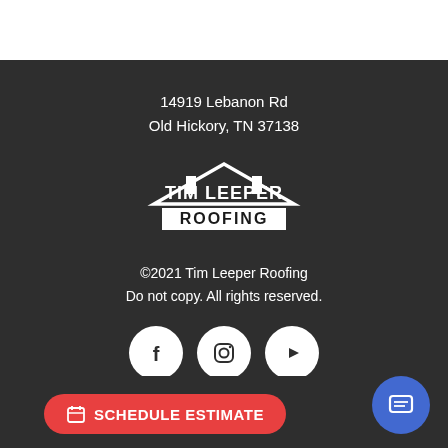14919 Lebanon Rd
Old Hickory, TN 37138
[Figure (logo): Tim Leeper Roofing logo — white roofline graphic above text 'TIM LEEPER' in bold white letters, with 'ROOFING' in bold white on a black banner below]
©2021 Tim Leeper Roofing
Do not copy. All rights reserved.
[Figure (other): Three white circular social media icons: Facebook, Instagram, YouTube]
615-553-2782
erroofing.com
SCHEDULE ESTIMATE